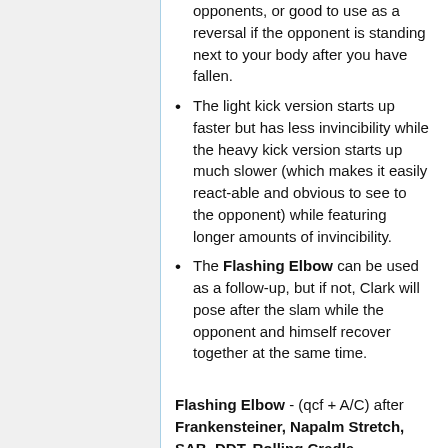opponents, or good to use as a reversal if the opponent is standing next to your body after you have fallen.
The light kick version starts up faster but has less invincibility while the heavy kick version starts up much slower (which makes it easily react-able and obvious to see to the opponent) while featuring longer amounts of invincibility.
The Flashing Elbow can be used as a follow-up, but if not, Clark will pose after the slam while the opponent and himself recover together at the same time.
Flashing Elbow - (qcf + A/C) after Frankensteiner, Napalm Stretch, SAB, DDT, Rolling Cradle